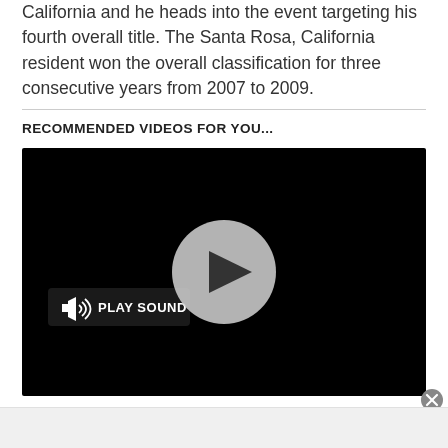California and he heads into the event targeting his fourth overall title. The Santa Rosa, California resident won the overall classification for three consecutive years from 2007 to 2009.
RECOMMENDED VIDEOS FOR YOU...
[Figure (screenshot): Black video player with a circular grey play button in the center and a 'PLAY SOUND' button with speaker icon on the lower left.]